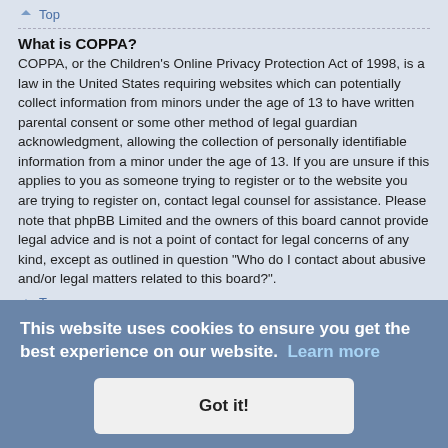Top
What is COPPA?
COPPA, or the Children’s Online Privacy Protection Act of 1998, is a law in the United States requiring websites which can potentially collect information from minors under the age of 13 to have written parental consent or some other method of legal guardian acknowledgment, allowing the collection of personally identifiable information from a minor under the age of 13. If you are unsure if this applies to you as someone trying to register or to the website you are trying to register on, contact legal counsel for assistance. Please note that phpBB Limited and the owners of this board cannot provide legal advice and is not a point of contact for legal concerns of any kind, except as outlined in question “Who do I contact about abusive and/or legal matters related to this board?”.
Top
Why can’t I register?
It is possible a board administrator has disabled registration to prevent new visitors from signing up. A board administrator could have also banned your IP address or disallowed the username you are attempting to register. Contact a board administrator for assistance.
Top
I registered but cannot login!
First, check your username and password. If they are correct, then one of two
This website uses cookies to ensure you get the best experience on our website. Learn more